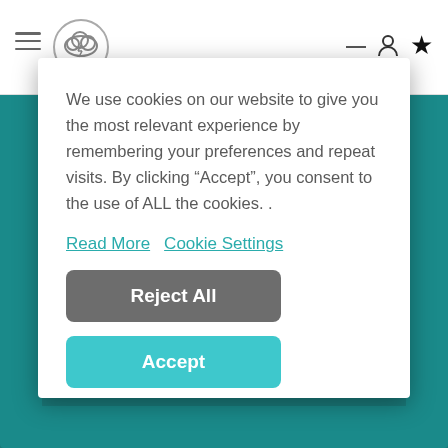[Figure (screenshot): Website cookie consent modal dialog with navigation bar partially visible behind it. Background shows teal/dark cyan color. Modal is white with cookie policy text, Read More and Cookie Settings links, a grey Reject All button, and a teal Accept button.]
We use cookies on our website to give you the most relevant experience by remembering your preferences and repeat visits. By clicking “Accept”, you consent to the use of ALL the cookies. .
Read More   Cookie Settings
Reject All
Accept